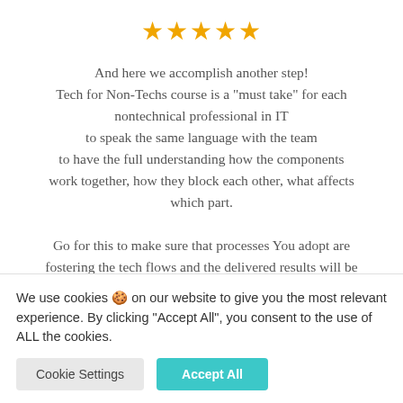[Figure (other): Five orange/gold star rating icons displayed in a row]
And here we accomplish another step! Tech for Non-Techs course is a “must take” for each nontechnical professional in IT to speak the same language with the team to have the full understanding how the components work together, how they block each other, what affects which part. Go for this to make sure that processes You adopt are fostering the tech flows and the delivered results will be
We use cookies 🍪 on our website to give you the most relevant experience. By clicking “Accept All”, you consent to the use of ALL the cookies.